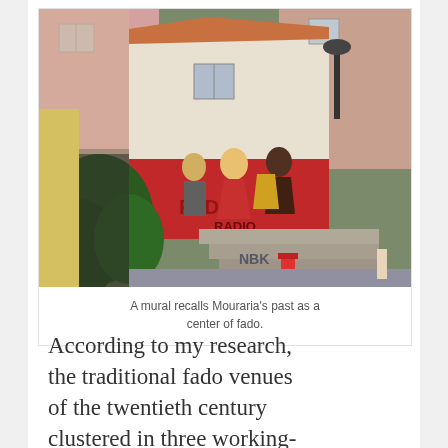[Figure (photo): Photograph of a narrow street or courtyard in Mouraria, Lisbon, showing colorful graffiti and murals on white building walls depicting fado musicians and characters, with trees and steps visible in the foreground.]
A mural recalls Mouraria's past as a center of fado.
According to my research, the traditional fado venues of the twentieth century clustered in three working-